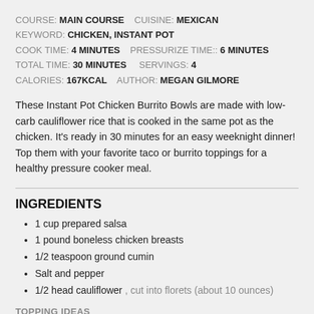COURSE: MAIN COURSE   CUISINE: MEXICAN
KEYWORD: CHICKEN, INSTANT POT
COOK TIME: 4 MINUTES   PRESSURIZE TIME:: 6 MINUTES
TOTAL TIME: 30 MINUTES   SERVINGS: 4
CALORIES: 167KCAL   AUTHOR: MEGAN GILMORE
These Instant Pot Chicken Burrito Bowls are made with low-carb cauliflower rice that is cooked in the same pot as the chicken. It's ready in 30 minutes for an easy weeknight dinner! Top them with your favorite taco or burrito toppings for a healthy pressure cooker meal.
INGREDIENTS
1 cup prepared salsa
1 pound boneless chicken breasts
1/2 teaspoon ground cumin
Salt and pepper
1/2 head cauliflower , cut into florets (about 10 ounces)
TOPPING IDEAS